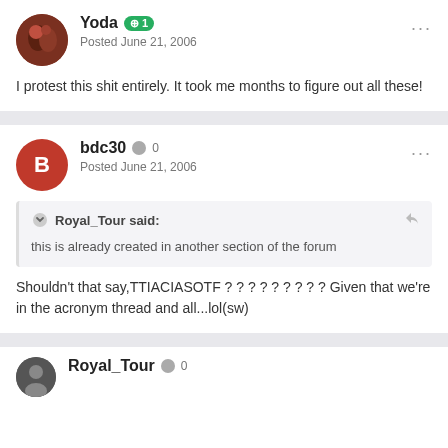Yoda • 1
Posted June 21, 2006
I protest this shit entirely. It took me months to figure out all these!
bdc30 • 0
Posted June 21, 2006
Royal_Tour said:
this is already created in another section of the forum
Shouldn't that say,TTIACIASOTF ? ? ? ? ? ? ? ? ? Given that we're in the acronym thread and all...lol(sw)
Royal_Tour